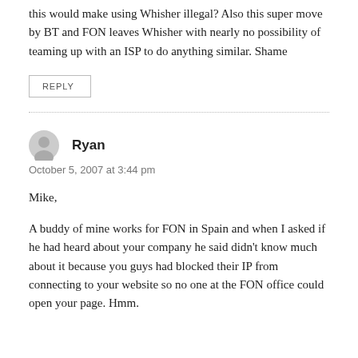this would make using Whisher illegal? Also this super move by BT and FON leaves Whisher with nearly no possibility of teaming up with an ISP to do anything similar. Shame
REPLY
Ryan
October 5, 2007 at 3:44 pm
Mike,
A buddy of mine works for FON in Spain and when I asked if he had heard about your company he said didn't know much about it because you guys had blocked their IP from connecting to your website so no one at the FON office could open your page. Hmm.